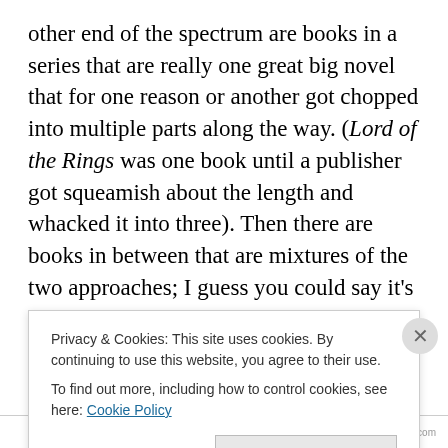other end of the spectrum are books in a series that are really one great big novel that for one reason or another got chopped into multiple parts along the way. (Lord of the Rings was one book until a publisher got squeamish about the length and whacked it into three). Then there are books in between that are mixtures of the two approaches; I guess you could say it's a continuum — but I'm pretty firmly in the second category. My situation is that one of the main conflicts in the book I'm working on now (third in a series) builds directly off an action that occurred in book no. 1. Elements of the action in the opening scene of no. 2
Privacy & Cookies: This site uses cookies. By continuing to use this website, you agree to their use.
To find out more, including how to control cookies, see here: Cookie Policy
Close and accept